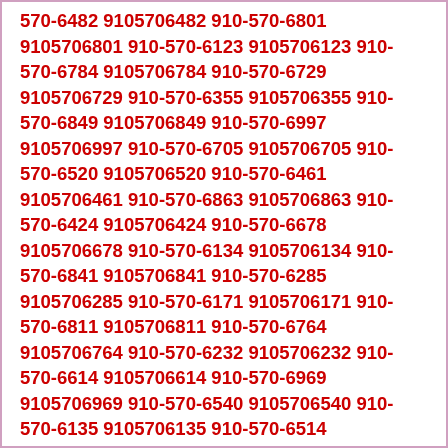570-6482 9105706482 910-570-6801 9105706801 910-570-6123 9105706123 910-570-6784 9105706784 910-570-6729 9105706729 910-570-6355 9105706355 910-570-6849 9105706849 910-570-6997 9105706997 910-570-6705 9105706705 910-570-6520 9105706520 910-570-6461 9105706461 910-570-6863 9105706863 910-570-6424 9105706424 910-570-6678 9105706678 910-570-6134 9105706134 910-570-6841 9105706841 910-570-6285 9105706285 910-570-6171 9105706171 910-570-6811 9105706811 910-570-6764 9105706764 910-570-6232 9105706232 910-570-6614 9105706614 910-570-6969 9105706969 910-570-6540 9105706540 910-570-6135 9105706135 910-570-6514 9105706514 910-570-6176 9105706176 910-570-6842 9105706842 910-570-6951 9105706951 910-570-6646 9105706646 910-570-6256 9105706256 910-570-6896 9105706896 910-570-6269 9105706269 910-570-6000 9105706000 910-570-6700